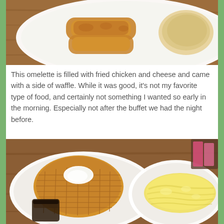[Figure (photo): Photo of a plate with fried chicken strips and what appears to be toast or a biscuit on a white plate, on a wooden table surface — top portion of image cropped]
This omelette is filled with fried chicken and cheese and came with a side of waffle. While it was good, it's not my favorite type of food, and certainly not something I wanted so early in the morning. Especially not after the buffet we had the night before.
[Figure (photo): Photo showing two white plates on a wooden table: left plate has a round golden waffle with a pat of butter/cream on top and a small cup of dark syrup; right plate has a large yellow fluffy omelette. A napkin dispenser with pink napkins is visible in the background.]